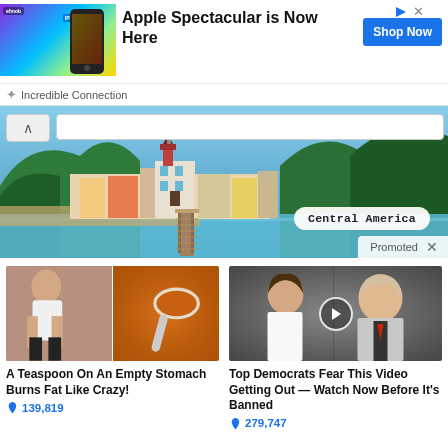[Figure (screenshot): Advertisement banner for Incredible Connection — Apple Spectacular is Now Here, with phone image and Shop Now button]
Apple Spectacular is Now Here
Shop Now
Incredible Connection
[Figure (photo): Scenic Central America coastal town photo with church and pier, with Central America label badge and Promoted tag]
[Figure (photo): Two-panel photo: woman exercising and spoon with spice powder]
A Teaspoon On An Empty Stomach Burns Fat Like Crazy!
139,819
[Figure (photo): Photo of man and woman with video play button overlay]
Top Democrats Fear This Video Getting Out — Watch Now Before It's Banned
279,747